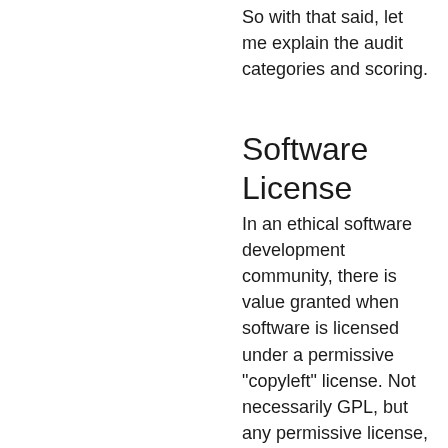So with that said, let me explain the audit categories and scoring.
Software License
In an ethical software development community, there is value granted when software is licensed under a permissive "copyleft" license. Not necessarily GPL, but any permissive license, from the 2-clause BSD to the GPL, from the Creative Commons to unlicensed public